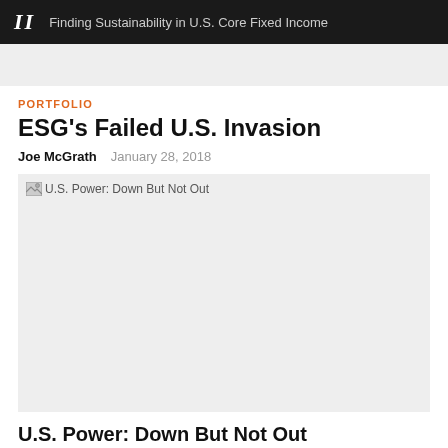II  Finding Sustainability in U.S. Core Fixed Income
PORTFOLIO
ESG's Failed U.S. Invasion
Joe McGrath    January 28, 2018
[Figure (photo): Image placeholder with alt text 'U.S. Power: Down But Not Out' — image not loaded, shown as gray rectangle]
U.S. Power: Down But Not Out